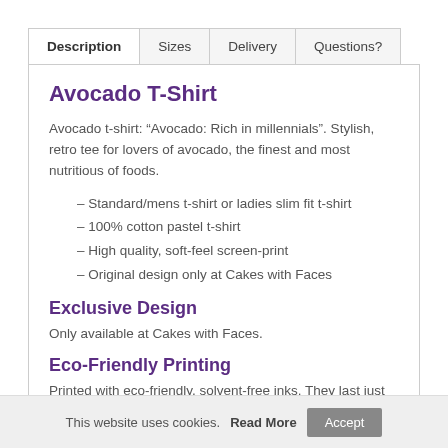Description | Sizes | Delivery | Questions?
Avocado T-Shirt
Avocado t-shirt: “Avocado: Rich in millennials”. Stylish, retro tee for lovers of avocado, the finest and most nutritious of foods.
– Standard/mens t-shirt or ladies slim fit t-shirt
– 100% cotton pastel t-shirt
– High quality, soft-feel screen-print
– Original design only at Cakes with Faces
Exclusive Design
Only available at Cakes with Faces.
Eco-Friendly Printing
Printed with eco-friendly, solvent-free inks. They last just
This website uses cookies. Read More  Accept